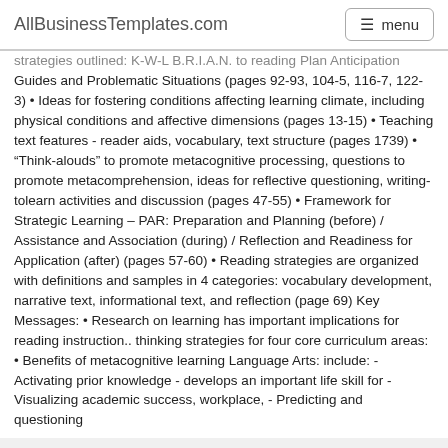AllBusinessTemplates.com  menu
strategies outlined: K-W-L B.R.I.A.N. to reading Plan Anticipation Guides and Problematic Situations (pages 92-93, 104-5, 116-7, 122-3) • Ideas for fostering conditions affecting learning climate, including physical conditions and affective dimensions (pages 13-15) • Teaching text features - reader aids, vocabulary, text structure (pages 1739) • “Think-alouds” to promote metacognitive processing, questions to promote metacomprehension, ideas for reflective questioning, writing-tolearn activities and discussion (pages 47-55) • Framework for Strategic Learning – PAR: Preparation and Planning (before) / Assistance and Association (during) / Reflection and Readiness for Application (after) (pages 57-60) • Reading strategies are organized with definitions and samples in 4 categories: vocabulary development, narrative text, informational text, and reflection (page 69) Key Messages: • Research on learning has important implications for reading instruction.. thinking strategies for four core curriculum areas: • Benefits of metacognitive learning Language Arts: include: - Activating prior knowledge - develops an important life skill for - Visualizing academic success, workplace, - Predicting and questioning